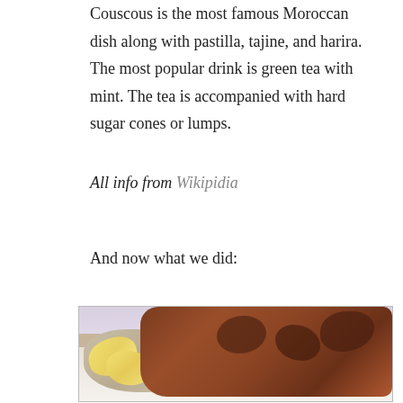Couscous is the most famous Moroccan dish along with pastilla, tajine, and harira. The most popular drink is green tea with mint. The tea is accompanied with hard sugar cones or lumps.
All info from Wikipidia
And now what we did:
[Figure (photo): A plate of Moroccan spiced chicken (possibly chermoula chicken) served on a bed of couscous with lemon wedges on the side.]